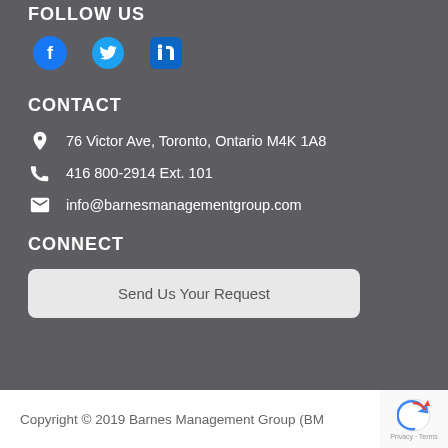FOLLOW US
[Figure (illustration): Three social media icons: Facebook (circle with 'f'), Twitter (bird), LinkedIn (square with 'in') in blue]
CONTACT
76 Victor Ave, Toronto, Ontario M4K 1A8
416 800-2914 Ext. 101
info@barnesmanagementgroup.com
CONNECT
Send Us Your Request
Copyright © 2019 Barnes Management Group (BM...